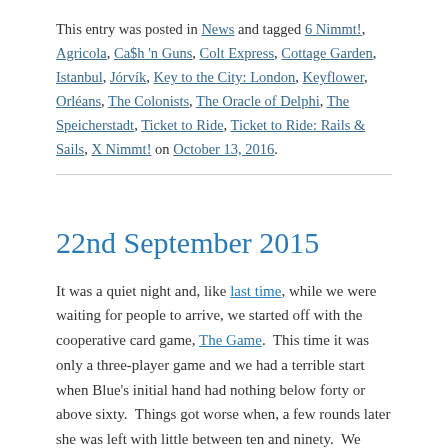This entry was posted in News and tagged 6 Nimmt!, Agricola, Ca$h 'n Guns, Colt Express, Cottage Garden, Istanbul, Jórvík, Key to the City: London, Keyflower, Orléans, The Colonists, The Oracle of Delphi, The Speicherstadt, Ticket to Ride, Ticket to Ride: Rails & Sails, X Nimmt! on October 13, 2016.
22nd September 2015
It was a quiet night and, like last time, while we were waiting for people to arrive, we started off with the cooperative card game, The Game.  This time it was only a three-player game and we had a terrible start when Blue's initial hand had nothing below forty or above sixty.  Things got worse when, a few rounds later she was left with little between ten and ninety.  We struggled on manfully, but we finished with a total